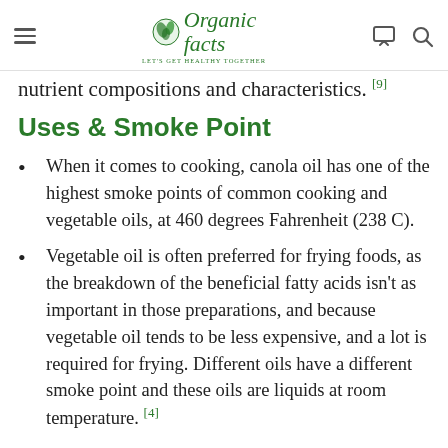Organic Facts — LET'S GET HEALTHY TOGETHER
nutrient compositions and characteristics. [9]
Uses & Smoke Point
When it comes to cooking, canola oil has one of the highest smoke points of common cooking and vegetable oils, at 460 degrees Fahrenheit (238 C).
Vegetable oil is often preferred for frying foods, as the breakdown of the beneficial fatty acids isn't as important in those preparations, and because vegetable oil tends to be less expensive, and a lot is required for frying. Different oils have a different smoke point and these oils are liquids at room temperature. [4]